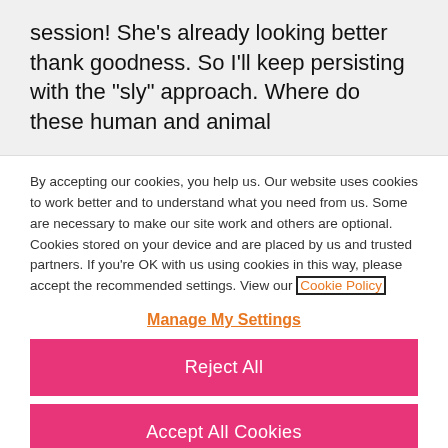session!  She's already looking better thank goodness. So I'll keep persisting with the "sly" approach. Where do these human and animal
By accepting our cookies, you help us. Our website uses cookies to work better and to understand what you need from us. Some are necessary to make our site work and others are optional. Cookies stored on your device and are placed by us and trusted partners. If you're OK with us using cookies in this way, please accept the recommended settings. View our Cookie Policy
Manage My Settings
Reject All
Accept All Cookies